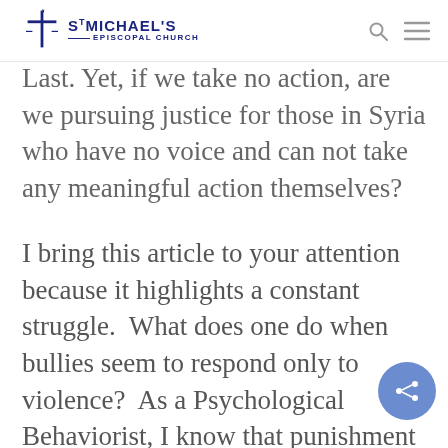St Michael's Episcopal Church — navigation header with logo, search icon, and menu icon
Last. Yet, if we take no action, are we pursuing justice for those in Syria who have no voice and can not take any meaningful action themselves?
I bring this article to your attention because it highlights a constant struggle.  What does one do when bullies seem to respond only to violence?  As a Psychological Behaviorist, I know that punishment does not solve